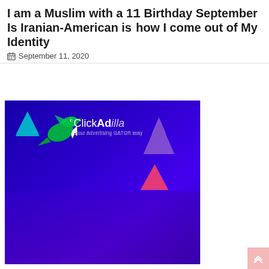I am a Muslim with a 11 Birthday September Is Iranian-American is how I come out of My Identity
September 11, 2020
[Figure (illustration): ClickAdilla advertisement banner with blue/purple gradient background, green dragon logo, geometric triangles in cyan, purple, and pink-red colors, and text 'ClickAdilla Your Advertising GATOR way']